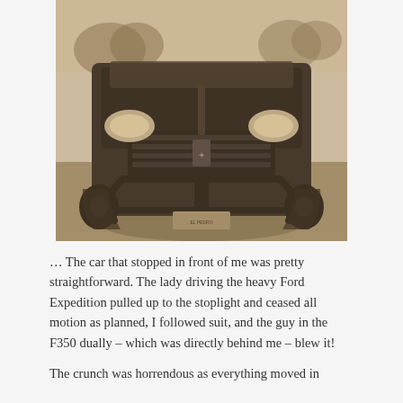[Figure (photo): Front view of a dark-colored Dodge Ram pickup truck with a bull bar/grille guard, parked on a gravel area. The photo has a sepia/brownish tint. The truck faces directly toward the camera showing its large grille, headlights, and front bumper guard.]
… The car that stopped in front of me was pretty straightforward. The lady driving the heavy Ford Expedition pulled up to the stoplight and ceased all motion as planned, I followed suit, and the guy in the F350 dually – which was directly behind me – blew it!
The crunch was horrendous as everything moved in